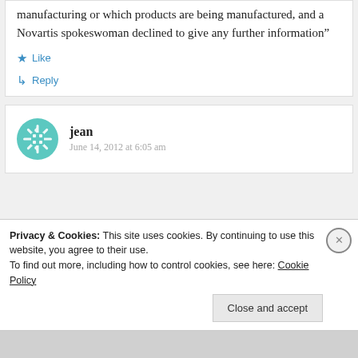manufacturing or which products are being manufactured, and a Novartis spokeswoman declined to give any further information”
Like
Reply
jean
June 14, 2012 at 6:05 am
Privacy & Cookies: This site uses cookies. By continuing to use this website, you agree to their use. To find out more, including how to control cookies, see here: Cookie Policy